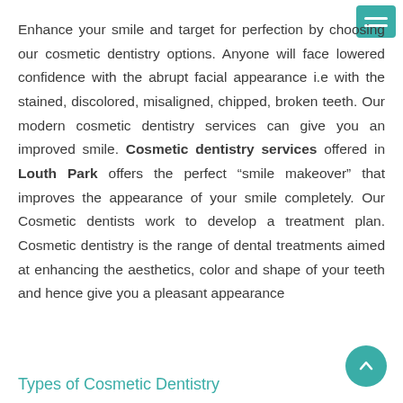Enhance your smile and target for perfection by choosing our cosmetic dentistry options. Anyone will face lowered confidence with the abrupt facial appearance i.e with the stained, discolored, misaligned, chipped, broken teeth. Our modern cosmetic dentistry services can give you an improved smile. Cosmetic dentistry services offered in Louth Park offers the perfect “smile makeover” that improves the appearance of your smile completely. Our Cosmetic dentists work to develop a treatment plan. Cosmetic dentistry is the range of dental treatments aimed at enhancing the aesthetics, color and shape of your teeth and hence give you a pleasant appearance
Types of Cosmetic Dentistry